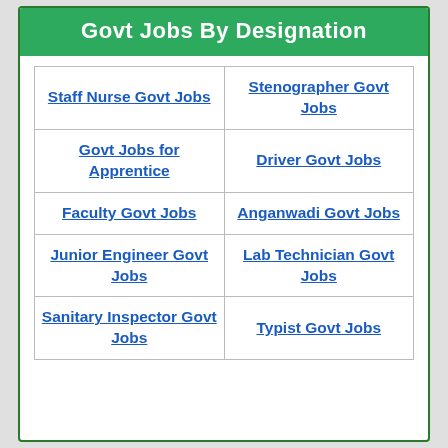Govt Jobs By Designation
| Staff Nurse Govt Jobs | Stenographer Govt Jobs |
| Govt Jobs for Apprentice | Driver Govt Jobs |
| Faculty Govt Jobs | Anganwadi Govt Jobs |
| Junior Engineer Govt Jobs | Lab Technician Govt Jobs |
| Sanitary Inspector Govt Jobs | Typist Govt Jobs |